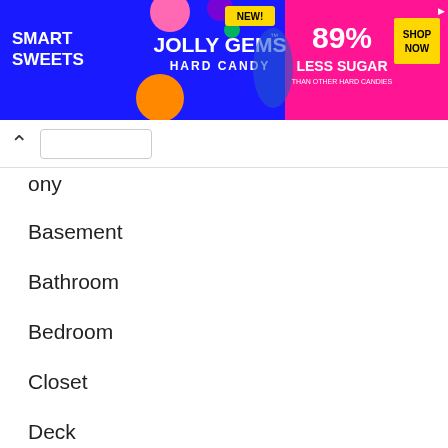[Figure (other): Smart Sweets advertisement banner for Jolly Gems Hard Candy, 89% Less Sugar than other hard candies, with SHOP NOW button]
ony
Basement
Bathroom
Bedroom
Closet
Deck
Dining Room
Entry
Exterior
Family Room